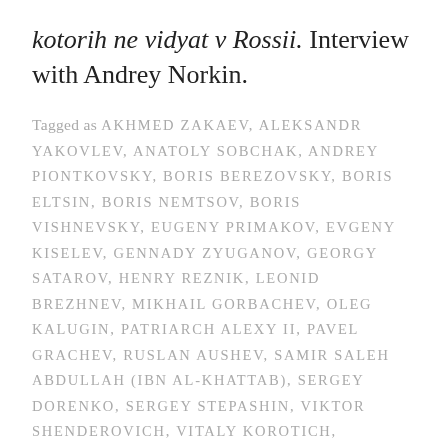kotorih ne vidyat v Rossii. Interview with Andrey Norkin.
Tagged as AKHMED ZAKAEV, ALEKSANDR YAKOVLEV, ANATOLY SOBCHAK, ANDREY PIONTKOVSKY, BORIS BEREZOVSKY, BORIS ELTSIN, BORIS NEMTSOV, BORIS VISHNEVSKY, EUGENY PRIMAKOV, EVGENY KISELEV, GENNADY ZYUGANOV, GEORGY SATAROV, HENRY REZNIK, LEONID BREZHNEV, MIKHAIL GORBACHEV, OLEG KALUGIN, PATRIARCH ALEXY II, PAVEL GRACHEV, RUSLAN AUSHEV, SAMIR SALEH ABDULLAH (IBN AL-KHATTAB), SERGEY DORENKO, SERGEY STEPASHIN, VIKTOR SHENDEROVICH, VITALY KOROTICH, VLADIMIR BUKOVSKY, VLADIMIR GUSINSKY, VLADIMIR PUTIN, YURI ANDROPOV, YURY SKURATOV. LEAVE A